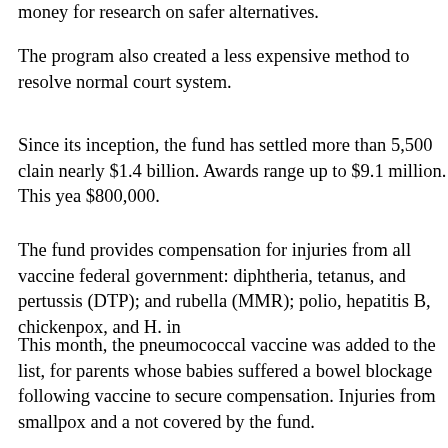money for research on safer alternatives.
The program also created a less expensive method to resolve normal court system.
Since its inception, the fund has settled more than 5,500 claims, nearly $1.4 billion. Awards range up to $9.1 million. This year $800,000.
The fund provides compensation for injuries from all vaccines federal government: diphtheria, tetanus, and pertussis (DTP); and rubella (MMR); polio, hepatitis B, chickenpox, and H. in
This month, the pneumococcal vaccine was added to the list, for parents whose babies suffered a bowel blockage following vaccine to secure compensation. Injuries from smallpox and a not covered by the fund.
Legislation is also pending, Roth said, to consider autism as a related injury.
Some people believe the rising incidence of autism is partly a growing number of vaccines administered before a child's im